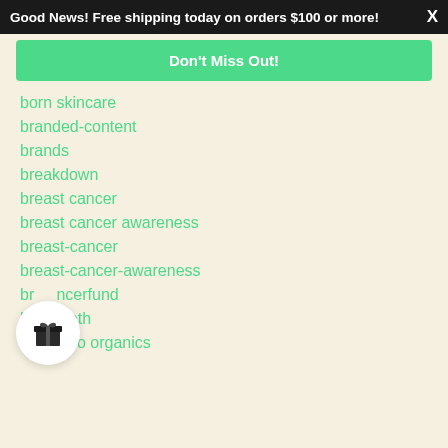Good News! Free shipping today on orders $100 or more! X
Don't Miss Out!
born skincare
branded-content
brands
breakdown
breast cancer
breast cancer awareness
breast-cancer
breast-cancer-awareness
breastcancerfund
breatheath
buckaroo organics
[Figure (illustration): White circle with a gift box icon (present with ribbon)]